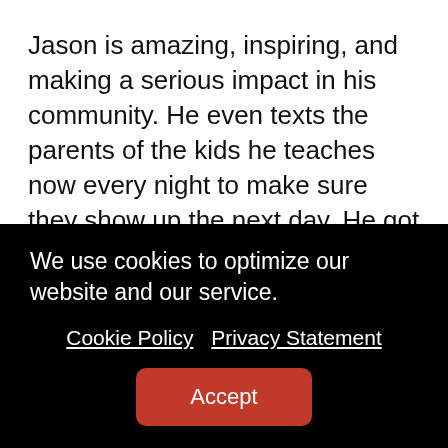Jason is amazing, inspiring, and making a serious impact in his community. He even texts the parents of the kids he teaches now every night to make sure they show up the next day. He got his 5013C and is now a full-fledged non-profit organization. Being able to give him the full amount he needs right now at the end of our call made my summer. Gotham Gives will connect him to the organizations we have been supporting for years through our family foundation with hopes to
We use cookies to optimize our website and our service.
Cookie Policy  Privacy Statement
Accept